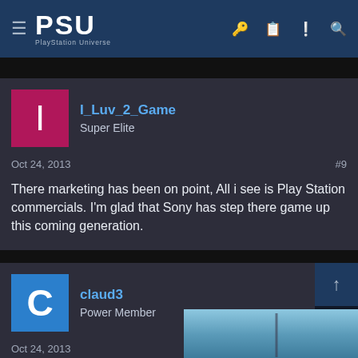PSU PlayStation Universe
I_Luv_2_Game
Super Elite
Oct 24, 2013
#9
There marketing has been on point, All i see is Play Station commercials. I'm glad that Sony has step there game up this coming generation.
claud3
Power Member
Oct 24, 2013
It's simple and to the point
[Figure (screenshot): Advertisement banner: DICE HAS DETAILED BATTLEFIELD 2042'S SEASON 2 COMING AUG 30]
enemy
overstepping the mark